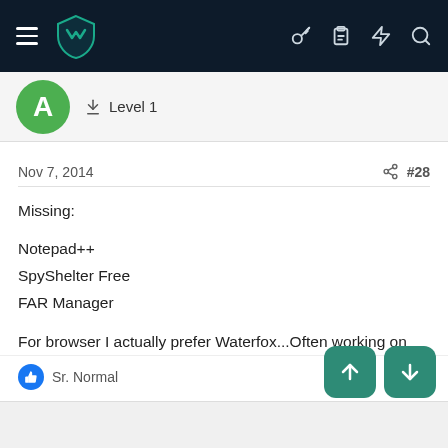Navigation bar with hamburger menu, logo, key icon, clipboard icon, lightning icon, search icon
A   Level 1
Nov 7, 2014   #28
Missing:

Notepad++
SpyShelter Free
FAR Manager

For browser I actually prefer Waterfox...Often working on 60+ tabs with 2 monitors. Chrome kills even i7 when it comes down to this.
Sr. Normal